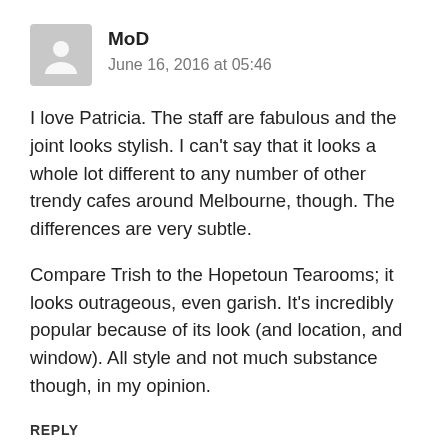[Figure (illustration): Grey avatar placeholder icon showing a generic person silhouette on a grey square background]
MoD
June 16, 2016 at 05:46
I love Patricia. The staff are fabulous and the joint looks stylish. I can't say that it looks a whole lot different to any number of other trendy cafes around Melbourne, though. The differences are very subtle.
Compare Trish to the Hopetoun Tearooms; it looks outrageous, even garish. It's incredibly popular because of its look (and location, and window). All style and not much substance though, in my opinion.
REPLY